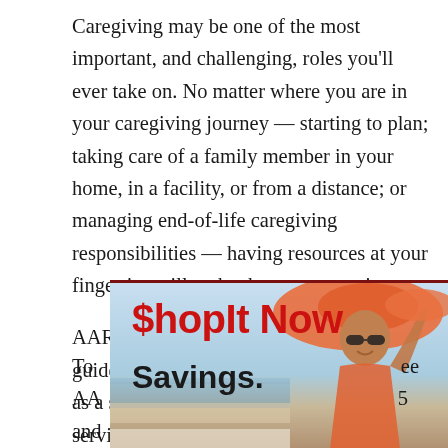Caregiving may be one of the most important, and challenging, roles you'll ever take on. No matter where you are in your caregiving journey — starting to plan; taking care of a family member in your home, in a facility, or from a distance; or managing end-of-life caregiving responsibilities — having resources at your fingertips will make the process easier.
AARP developed this family caregiver guide with you, the caregiver, in mind and as a starting point to help you find the services and support you might need throughout your jou[rney...]
[Figure (photo): Advertisement overlay showing '$hopIt Now Savings.' text in red and bold black on a light blue background, with a smiling woman wearing an orange wide-brim hat and sunglasses on the right side of the ad.]
To [see AA[RP...] 5 and co[ntact...]